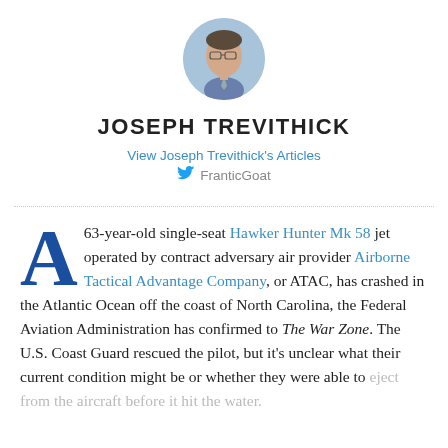[Figure (photo): Circular avatar photo of Joseph Trevithick, a man wearing glasses and a suit, against a blurred background.]
JOSEPH TREVITHICK
View Joseph Trevithick's Articles
FranticGoat
A 63-year-old single-seat Hawker Hunter Mk 58 jet operated by contract adversary air provider Airborne Tactical Advantage Company, or ATAC, has crashed in the Atlantic Ocean off the coast of North Carolina, the Federal Aviation Administration has confirmed to The War Zone. The U.S. Coast Guard rescued the pilot, but it's unclear what their current condition might be or whether they were able to eject from the aircraft before it hit the water.